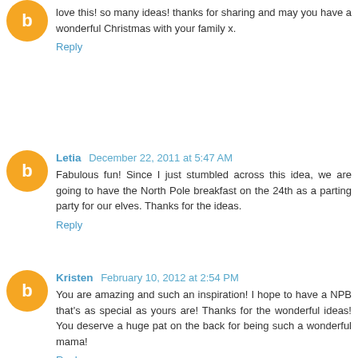love this! so many ideas! thanks for sharing and may you have a wonderful Christmas with your family x.
Reply
Letia  December 22, 2011 at 5:47 AM
Fabulous fun! Since I just stumbled across this idea, we are going to have the North Pole breakfast on the 24th as a parting party for our elves. Thanks for the ideas.
Reply
Kristen  February 10, 2012 at 2:54 PM
You are amazing and such an inspiration! I hope to have a NPB that's as special as yours are! Thanks for the wonderful ideas! You deserve a huge pat on the back for being such a wonderful mama!
Reply